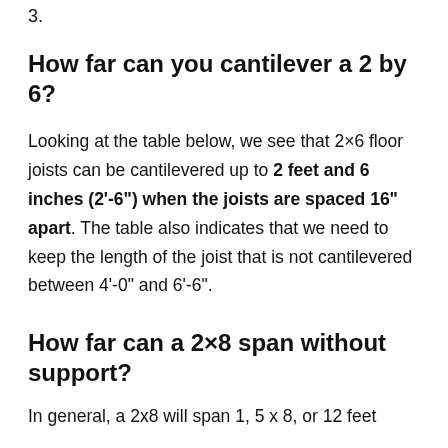3.
How far can you cantilever a 2 by 6?
Looking at the table below, we see that 2×6 floor joists can be cantilevered up to 2 feet and 6 inches (2'-6") when the joists are spaced 16" apart. The table also indicates that we need to keep the length of the joist that is not cantilevered between 4'-0" and 6'-6".
How far can a 2×8 span without support?
In general, a 2x8 will span 1, 5 x 8, or 12 feet